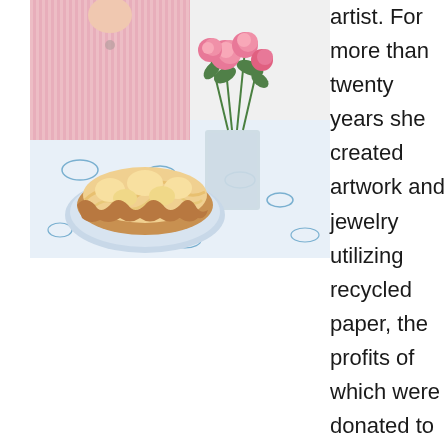[Figure (photo): A woman in a pink striped blazer sits at a table covered with a blue and white floral tablecloth. On the table is a lemon meringue pie on a decorative plate and a glass vase with pink roses and greenery.]
artist. For more than twenty years she created artwork and jewelry utilizing recycled paper, the profits of which were donated to charitable causes. Rita self-published a book that combined her artwork and creative writing: One Liner on Two Lines and most recently, during the pandemic, she has been sharing her poetry